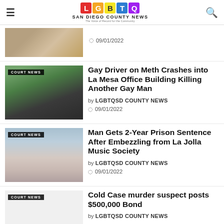LGBTQ SAN DIEGO COUNTY NEWS - The Voice of Record for the Community
[Figure (photo): Partial view of a blurred/cropped photo at top]
09/01/2022
Gay Driver on Meth Crashes into La Mesa Office Building Killing Another Gay Man
by LGBTQSD COUNTY NEWS
09/01/2022
[Figure (photo): Man smiling selfie photo with court news badge]
Man Gets 2-Year Prison Sentence After Embezzling from La Jolla Music Society
by LGBTQSD COUNTY NEWS
09/01/2022
[Figure (photo): Mugshot of a man with court news badge]
Cold Case murder suspect posts $500,000 Bond
by LGBTQSD COUNTY NEWS